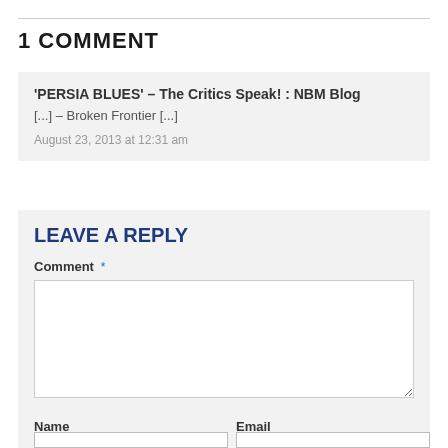1 COMMENT
'PERSIA BLUES' – The Critics Speak! : NBM Blog
[...] – Broken Frontier [...]
August 23, 2013 at 12:31 am
LEAVE A REPLY
Comment *
Name
Email